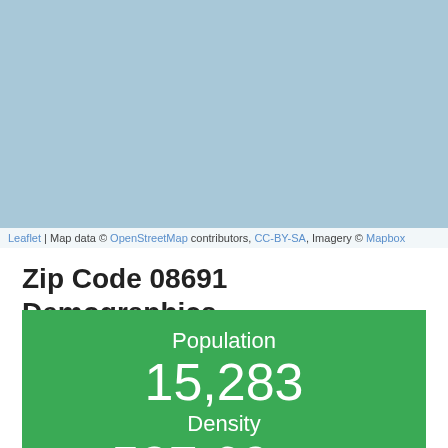[Figure (map): Map area showing a light blue geographic/street map view for zip code 08691 area.]
Leaflet | Map data © OpenStreetMap contributors, CC-BY-SA, Imagery © Mapbox
Zip Code 08691 Demographics
Population 15,283 Density 587.69 / sqml.